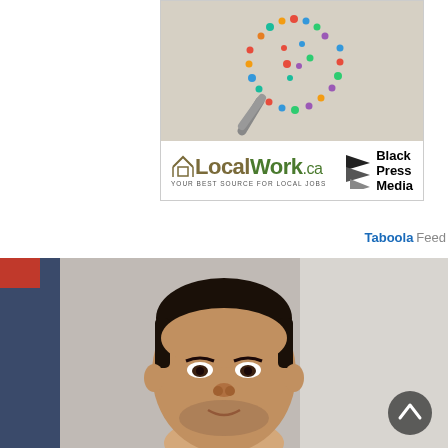[Figure (logo): LocalWork.ca and Black Press Media advertisement banner with magnifying glass illustration made of social media icons on a beige background]
Taboola Feed
[Figure (photo): Photograph of a young man with short dark hair and light beard, smiling slightly, taken indoors. A scroll-to-top button overlays the lower right.]